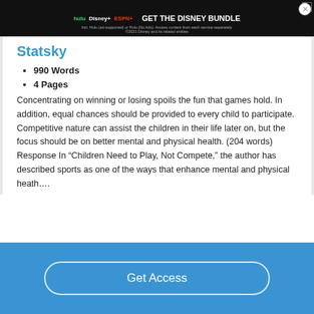[Figure (other): Disney Bundle advertisement banner with Hulu, Disney+, and ESPN+ logos and 'GET THE DISNEY BUNDLE' call to action on black background]
Statsky
990 Words
4 Pages
Concentrating on winning or losing spoils the fun that games hold. In addition, equal chances should be provided to every child to participate. Competitive nature can assist the children in their life later on, but the focus should be on better mental and physical health. (204 words) Response In “Children Need to Play, Not Compete,” the author has described sports as one of the ways that enhance mental and physical heath….
Get Access